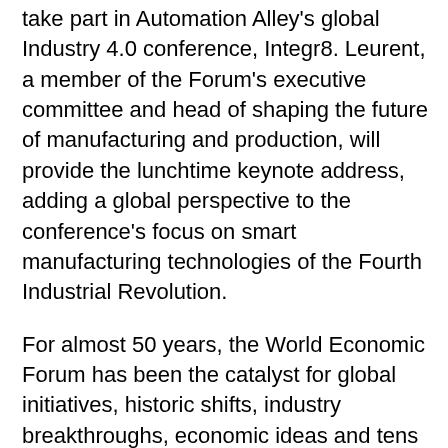take part in Automation Alley's global Industry 4.0 conference, Integr8. Leurent, a member of the Forum's executive committee and head of shaping the future of manufacturing and production, will provide the lunchtime keynote address, adding a global perspective to the conference's focus on smart manufacturing technologies of the Fourth Industrial Revolution.
For almost 50 years, the World Economic Forum has been the catalyst for global initiatives, historic shifts, industry breakthroughs, economic ideas and tens of thousands of projects and collaborations. The Forum's strategy is simple and effective: bring together the most relevant leaders from all sectors of global society and identify the best ways to address the world's most significant challenges.